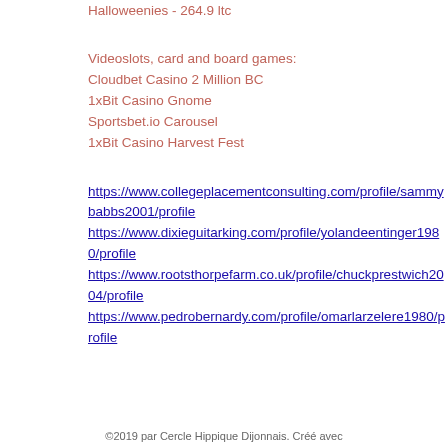Halloweenies - 264.9 ltc
Videoslots, card and board games:
Cloudbet Casino 2 Million BC
1xBit Casino Gnome
Sportsbet.io Carousel
1xBit Casino Harvest Fest
https://www.collegeplacementconsulting.com/profile/sammybabbs2001/profile
https://www.dixieguitarking.com/profile/yolandeentinger1980/profile
https://www.rootsthorpefarm.co.uk/profile/chuckprestwich2004/profile
https://www.pedrobernardy.com/profile/omarlarzelere1980/profile
©2019 par Cercle Hippique Dijonnais. Créé avec